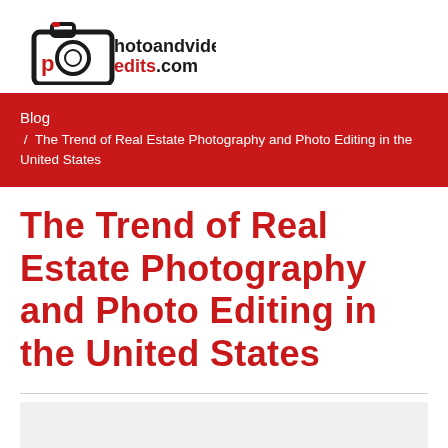[Figure (logo): PhotoandVideoEdits.com logo with camera icon, black and red text]
Blog / The Trend of Real Estate Photography and Photo Editing in the United States
The Trend of Real Estate Photography and Photo Editing in the United States
[Figure (photo): Partial image at bottom of page, light gray/beige background visible]